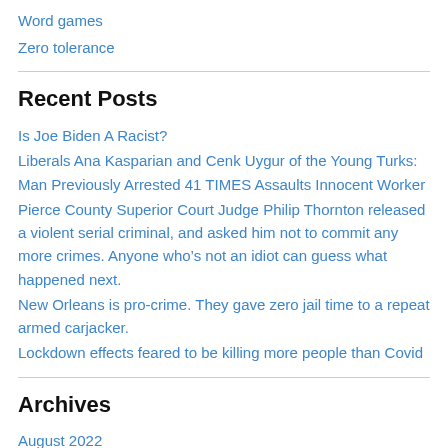Word games
Zero tolerance
Recent Posts
Is Joe Biden A Racist?
Liberals Ana Kasparian and Cenk Uygur of the Young Turks: Man Previously Arrested 41 TIMES Assaults Innocent Worker
Pierce County Superior Court Judge Philip Thornton released a violent serial criminal, and asked him not to commit any more crimes. Anyone who’s not an idiot can guess what happened next.
New Orleans is pro-crime. They gave zero jail time to a repeat armed carjacker.
Lockdown effects feared to be killing more people than Covid
Archives
August 2022